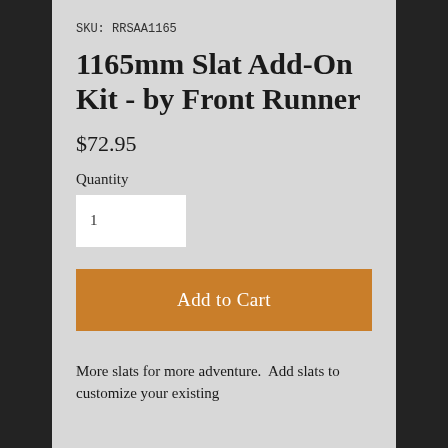SKU: RRSAA1165
1165mm Slat Add-On Kit - by Front Runner
$72.95
Quantity
1
Add to Cart
More slats for more adventure.  Add slats to customize your existing